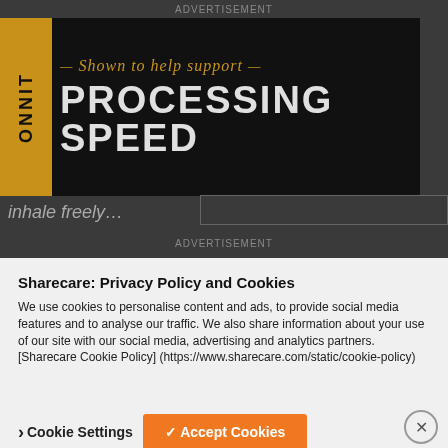ADVERTISEMENT
[Figure (photo): Dark advertisement banner with orange side bar reading 'ONNIT', italic gold text '— Shown to help support —', and large bold white text 'PROCESSING SPEED']
inhale freely...
ADVERTISEMENT
Sharecare: Privacy Policy and Cookies
We use cookies to personalise content and ads, to provide social media features and to analyse our traffic. We also share information about your use of our site with our social media, advertising and analytics partners. [Sharecare Cookie Policy] (https://www.sharecare.com/static/cookie-policy)
Cookie Settings
✓ Accept Cookies